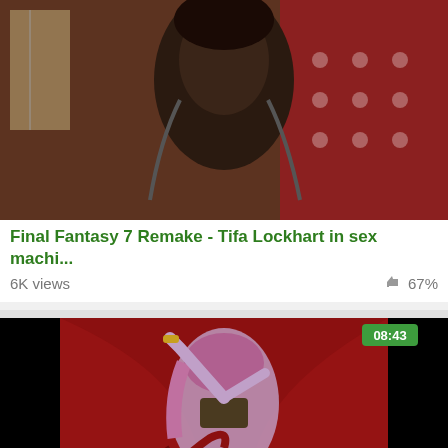[Figure (photo): Thumbnail image of a 3D animated character in a Japanese-style room setting]
Final Fantasy 7 Remake - Tifa Lockhart in sex machi...
6K views  👍 67%
[Figure (photo): Thumbnail image of a 3D animated character with purple hair and fantasy armor against a red background, duration badge showing 08:43]